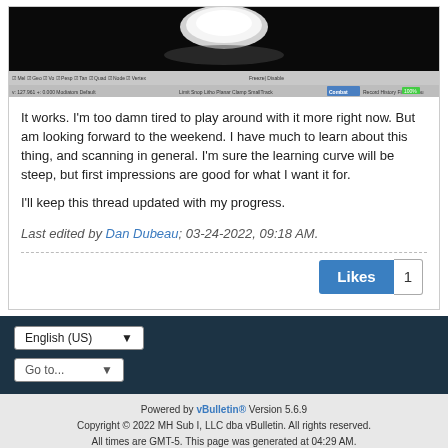[Figure (screenshot): Screenshot of a 3D scanning software with a white object (spoon/shell) on black background, with toolbar visible at bottom]
It works. I'm too damn tired to play around with it more right now. But am looking forward to the weekend. I have much to learn about this thing, and scanning in general. I'm sure the learning curve will be steep, but first impressions are good for what I want it for.
I'll keep this thread updated with my progress.
Last edited by Dan Dubeau; 03-24-2022, 09:18 AM.
Powered by vBulletin® Version 5.6.9
Copyright © 2022 MH Sub I, LLC dba vBulletin. All rights reserved.
All times are GMT-5. This page was generated at 04:29 AM.